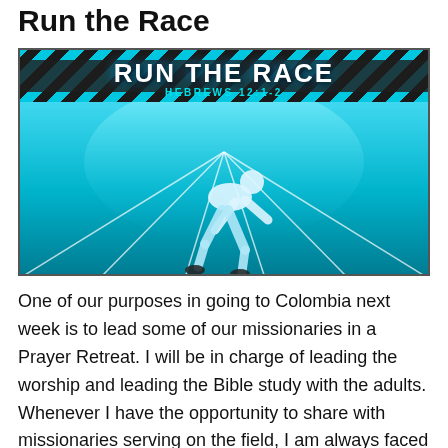Run the Race
[Figure (photo): Composite image with 'RUN THE RACE / HEBREWS 12:1-2' text on a diagonal stripe banner above, and a photo of a sprinter in a starting position on a blue athletic track below.]
One of our purposes in going to Colombia next week is to lead some of our missionaries in a Prayer Retreat. I will be in charge of leading the worship and leading the Bible study with the adults. Whenever I have the opportunity to share with missionaries serving on the field, I am always faced with the dilemma of what I should speak about. I